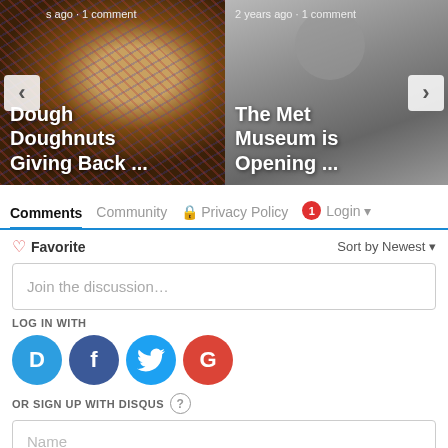[Figure (photo): Two article cards in a carousel. Left card shows donuts/sprinkles photo with nav left arrow and text 's ago · 1 comment' and title 'Dough Doughnuts Giving Back ...'. Right card shows gray blurred museum image with nav right arrow and text '2 years ago · 1 comment' and title 'The Met Museum is Opening ...']
Comments	Community	🔒 Privacy Policy	1 Login ▾
♡ Favorite	Sort by Newest ▾
Join the discussion…
LOG IN WITH
[Figure (infographic): Four social login icons: D (Disqus, blue), f (Facebook, dark blue), bird (Twitter, light blue), G (Google, red)]
OR SIGN UP WITH DISQUS ?
Name